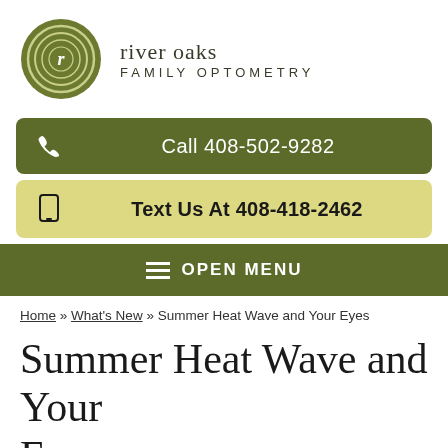[Figure (logo): River Oaks Family Optometry logo: green circle with concentric rings and cursive 'r' letter, with brand name text to the right]
Call 408-502-9282
Text Us At 408-418-2462
OPEN MENU
Home » What's New » Summer Heat Wave and Your Eyes
Summer Heat Wave and Your Eyes